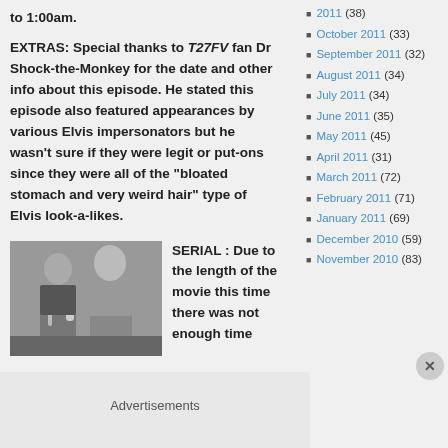to 1:00am.
EXTRAS: Special thanks to T27FV fan Dr Shock-the-Monkey for the date and other info about this episode. He stated this episode also featured appearances by various Elvis impersonators but he wasn't sure if they were legit or put-ons since they were all of the "bloated stomach and very weird hair" type of Elvis look-a-likes.
[Figure (photo): Black and white photo of two men singing into a microphone]
SERIAL : Due to the length of the movie this time there was not enough time
2011 (38)
October 2011 (33)
September 2011 (32)
August 2011 (34)
July 2011 (34)
June 2011 (35)
May 2011 (45)
April 2011 (31)
March 2011 (72)
February 2011 (71)
January 2011 (69)
December 2010 (59)
November 2010 (83)
Advertisements